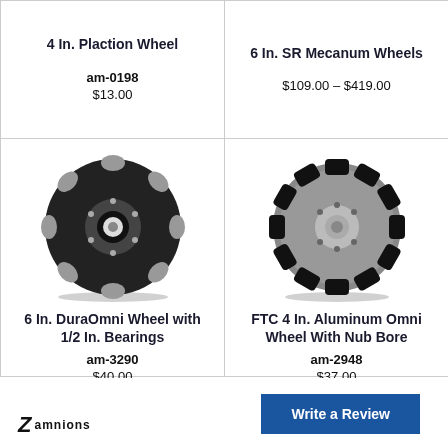4 In. Plaction Wheel
am-0198
$13.00
6 In. SR Mecanum Wheels
$109.00 – $419.00
[Figure (photo): 6 In. DuraOmni Wheel with 1/2 In. Bearings - black omni wheel with grey rollers and center bearing]
6 In. DuraOmni Wheel with 1/2 In. Bearings
am-3290
$40.00
[Figure (photo): FTC 4 In. Aluminum Omni Wheel With Nub Bore - round metal plate with black rubber rollers around perimeter]
FTC 4 In. Aluminum Omni Wheel With Nub Bore
am-2948
$37.00
Write a Review